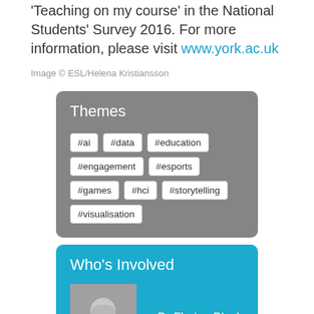'Teaching on my course' in the National Students' Survey 2016. For more information, please visit www.york.ac.uk
Image © ESL/Helena Kristiansson
Themes
#ai
#data
#education
#engagement
#esports
#games
#hci
#storytelling
#visualisation
Who's Involved
Dr Florian Block
Dr Nick Sephton